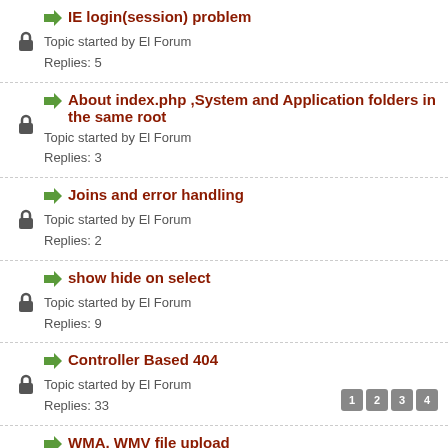IE login(session) problem
Topic started by El Forum
Replies: 5
About index.php ,System and Application folders in the same root
Topic started by El Forum
Replies: 3
Joins and error handling
Topic started by El Forum
Replies: 2
show hide on select
Topic started by El Forum
Replies: 9
Controller Based 404
Topic started by El Forum
Replies: 33
Pages: 1 2 3 4
WMA, WMV file upload
Topic started by El Forum